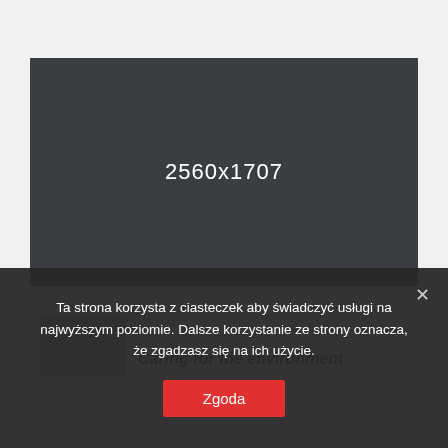[Figure (other): Dark gray image placeholder showing dimensions 2560x1707 in white text on dark background]
[Figure (other): Partial card with gray thumbnail and partially visible italic title text starting with 'Caring for the environment']
Ta strona korzysta z ciasteczek aby świadczyć usługi na najwyższym poziomie. Dalsze korzystanie ze strony oznacza, że zgadzasz się na ich użycie.
Zgoda